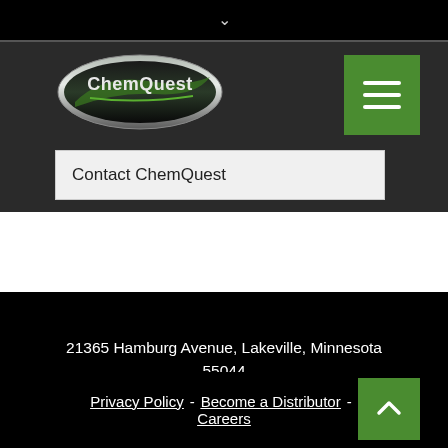[Figure (logo): ChemQuest oval logo with green and dark styling]
Contact ChemQuest
21365 Hamburg Avenue, Lakeville, Minnesota 55044
800.969.4626 - © 2021 ChemQuest
Privacy Policy - Become a Distributor - Careers